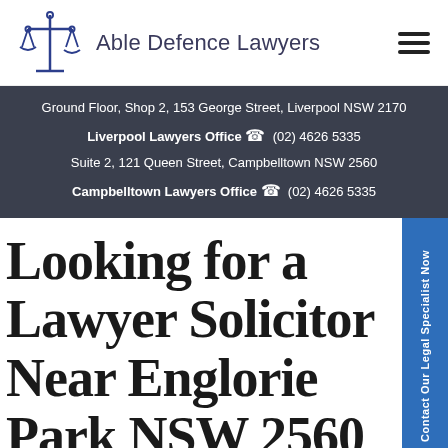Able Defence Lawyers
Ground Floor, Shop 2, 153 George Street, Liverpool NSW 2170
Liverpool Lawyers Office (02) 4626 5335
Suite 2, 121 Queen Street, Campbelltown NSW 2560
Campbelltown Lawyers Office (02) 4626 5335
Looking for a Lawyer Solicitor Near Englorie Park NSW 2560 serving the South Western Suburbs of